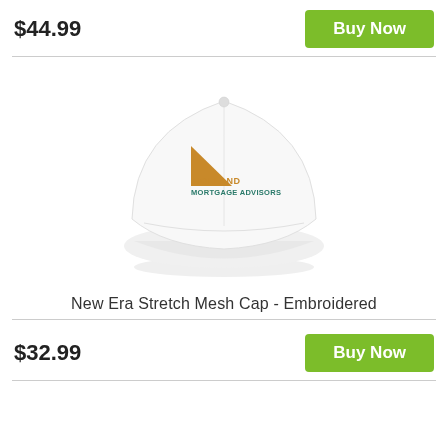$44.99
Buy Now
[Figure (photo): White New Era Stretch Mesh Cap with Holland Mortgage Advisors embroidered logo on front — logo features an orange triangle and teal/orange text.]
New Era Stretch Mesh Cap - Embroidered
$32.99
Buy Now